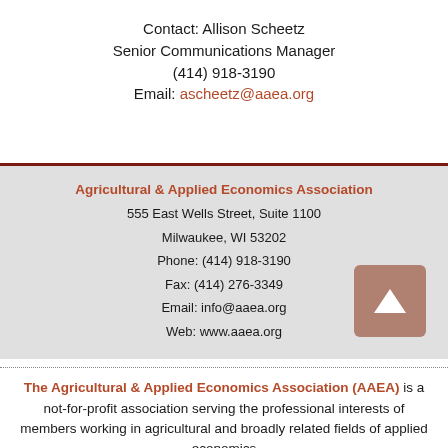Contact: Allison Scheetz
Senior Communications Manager
(414) 918-3190
Email: ascheetz@aaea.org
Agricultural & Applied Economics Association
555 East Wells Street, Suite 1100
Milwaukee, WI 53202
Phone: (414) 918-3190
Fax: (414) 276-3349
Email: info@aaea.org
Web: www.aaea.org
The Agricultural & Applied Economics Association (AAEA) is a not-for-profit association serving the professional interests of members working in agricultural and broadly related fields of applied economics